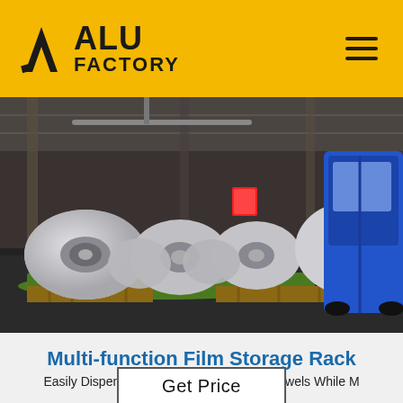ALU FACTORY
[Figure (photo): Industrial warehouse photo showing large rolls/coils of aluminum foil on pallets with green protective wrapping, a blue forklift/vehicle on the right, and warehouse ceiling structure visible in the background.]
Multi-function Film Storage Rack
Easily Dispense & Cut Foil/Wraps/Paper Towels While M...
Get Price